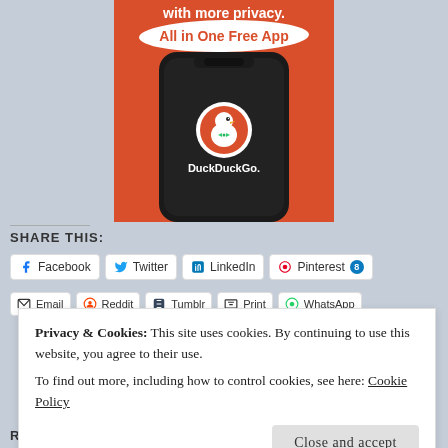[Figure (screenshot): DuckDuckGo advertisement showing a smartphone with DuckDuckGo app logo on orange background with text 'with more privacy. All in One Free App']
SHARE THIS:
Facebook
Twitter
LinkedIn
Pinterest 8
Email
Reddit
Tumblr
Print
WhatsApp
Privacy & Cookies: This site uses cookies. By continuing to use this website, you agree to their use.
To find out more, including how to control cookies, see here: Cookie Policy
Close and accept
RELATED